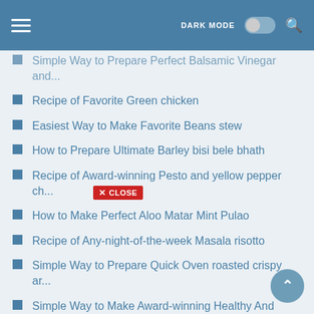DARK MODE [toggle] [search]
Simple Way to Prepare Perfect Balsamic Vinegar and...
Recipe of Favorite Green chicken
Easiest Way to Make Favorite Beans stew
How to Prepare Ultimate Barley bisi bele bhath
Recipe of Award-winning Pesto and yellow pepper ch...
How to Make Perfect Aloo Matar Mint Pulao
Recipe of Any-night-of-the-week Masala risotto
Simple Way to Prepare Quick Oven roasted crispy ar...
Simple Way to Make Award-winning Healthy And Tasty...
Simple Way to Make Favorite Oven-roasted Gnocchi w...
Simple Way to Make Homemade Quinoa Barley Th... Sa...
How to Prepare Speedy Sweet Potato Chips with Pesto